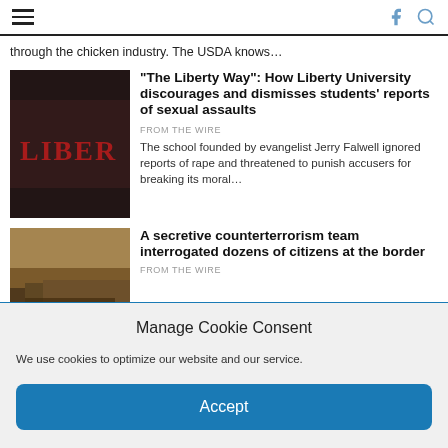hamburger menu | facebook | search icons
through the chicken industry. The USDA knows…
[Figure (photo): Close-up photo of a red 'LIBER' letter on dark fabric/jacket]
“The Liberty Way”: How Liberty University discourages and dismisses students’ reports of sexual assaults
FROM THE WIRE
The school founded by evangelist Jerry Falwell ignored reports of rape and threatened to punish accusers for breaking its moral…
[Figure (photo): Photo of a border fence/wall in a desert landscape with a vehicle nearby]
A secretive counterterrorism team interrogated dozens of citizens at the border
FROM THE WIRE
Manage Cookie Consent
We use cookies to optimize our website and our service.
Accept